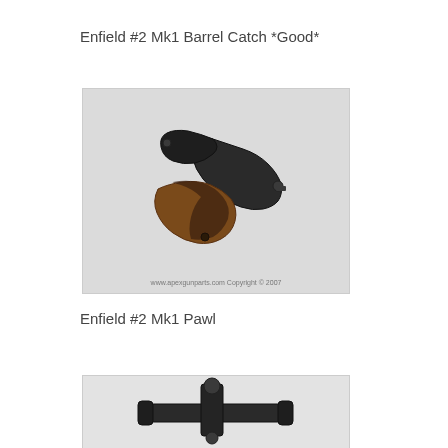Enfield #2 Mk1 Barrel Catch *Good*
[Figure (photo): Two Enfield #2 Mk1 Barrel Catch parts photographed on a light gray surface. The metal parts are dark/black with some rust/brown coloring. Watermark reads: www.apexgunparts.com Copyright © 2007]
Enfield #2 Mk1 Pawl
[Figure (photo): Partial view of an Enfield #2 Mk1 Pawl part photographed on a light surface, showing metal gun parts from above.]